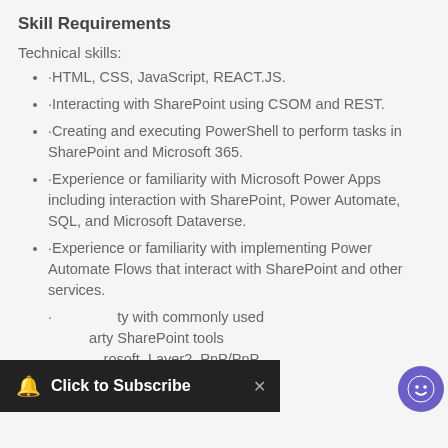Skill Requirements
Technical skills:
·HTML, CSS, JavaScript, REACT.JS.
·Interacting with SharePoint using CSOM and REST.
·Creating and executing PowerShell to perform tasks in SharePoint and Microsoft 365.
·Experience or familiarity with Microsoft Power Apps including interaction with SharePoint, Power Automate, SQL, and Microsoft Dataverse.
·Experience or familiarity with implementing Power Automate Flows that interact with SharePoint and other services.
·Experience or familiarity with commonly used third-party SharePoint tools from Microsoft, Layer2, PnP/PnP and ShareGate.